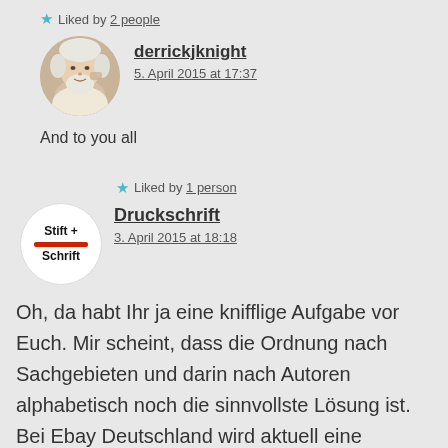★ Liked by 2 people
derrickjknight
5. April 2015 at 17:37
[Figure (photo): Avatar photo of an elderly man with white hair and beard]
And to you all
★ Liked by 1 person
[Figure (logo): Logo showing 'Stift + Schrift' with a red pencil line]
Druckschrift
3. April 2015 at 18:18
Oh, da habt Ihr ja eine knifflige Aufgabe vor Euch. Mir scheint, dass die Ordnung nach Sachgebieten und darin nach Autoren alphabetisch noch die sinnvollste Lösung ist. Bei Ebay Deutschland wird aktuell eine